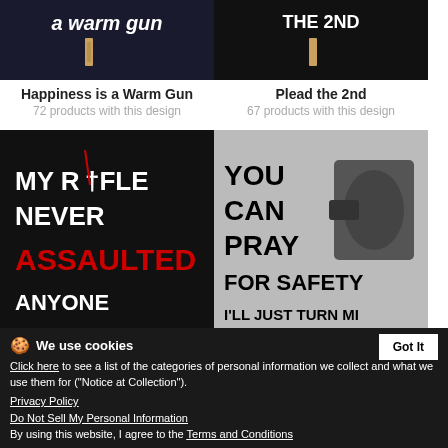[Figure (photo): T-shirt with 'a warm gun' text on dark background]
Happiness is a Warm Gun
72 products with this design
[Figure (photo): T-shirt with 'THE 2ND' text on dark background]
Plead the 2nd
67 products with this design
[Figure (photo): T-shirt: MY RIFLE NEVER ASSAULTED ANYONE]
[Figure (photo): T-shirt/item: YOU CAN PRAY FOR SAFETY I'LL JUST TURN MI...]
69 products with this design
77 products with this design
We use cookies
Click here to see a list of the categories of personal information we collect and what we use them for ("Notice at Collection").
Privacy Policy
Do Not Sell My Personal Information
By using this website, I agree to the Terms and Conditions